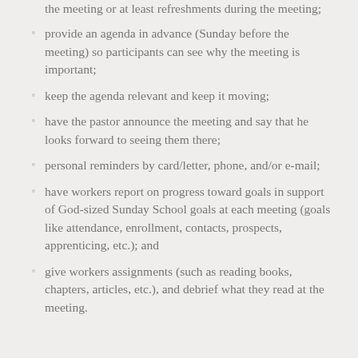the meeting or at least refreshments during the meeting;
provide an agenda in advance (Sunday before the meeting) so participants can see why the meeting is important;
keep the agenda relevant and keep it moving;
have the pastor announce the meeting and say that he looks forward to seeing them there;
personal reminders by card/letter, phone, and/or e-mail;
have workers report on progress toward goals in support of God-sized Sunday School goals at each meeting (goals like attendance, enrollment, contacts, prospects, apprenticing, etc.); and
give workers assignments (such as reading books, chapters, articles, etc.), and debrief what they read at the meeting.